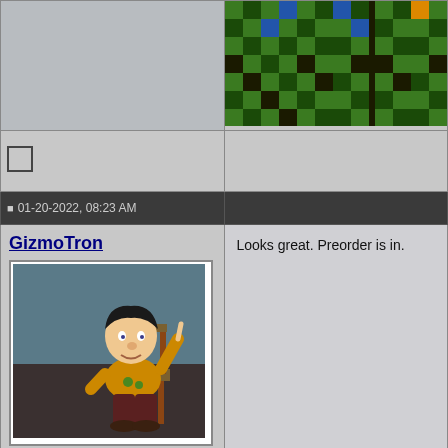[Figure (illustration): Gray placeholder box in top-left cell]
[Figure (illustration): Pixel art / tile pattern with green, dark green, blue, and orange colored squares on black background]
[Figure (other): Checkbox (empty square) in row 2 left column]
01-20-2022, 08:23 AM
GizmoTron
[Figure (illustration): Cartoon character avatar - animated man sitting in a director's chair, wearing an orange sweater and dark pants, pointing upward with one finger]
Join Date: Sep 2015
Location: St. Joseph, MO
Posts: 784
Looks great. Preorder is in.